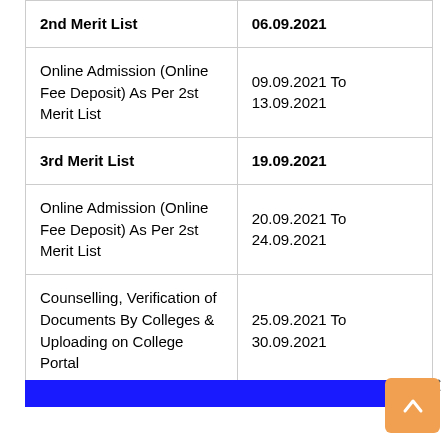| Event | Date |
| --- | --- |
| 2nd Merit List | 06.09.2021 |
| Online Admission (Online Fee Deposit) As Per 2st Merit List | 09.09.2021 To 13.09.2021 |
| 3rd Merit List | 19.09.2021 |
| Online Admission (Online Fee Deposit) As Per 2st Merit List | 20.09.2021 To 24.09.2021 |
| Counselling, Verification of Documents By Colleges & Uploading on College Portal | 25.09.2021 To 30.09.2021 |